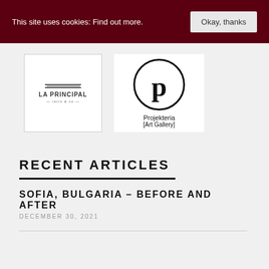This site uses cookies: Find out more. Okay, thanks
[Figure (logo): La Principal retro & co logo — rectangular white box with decorative lines and text]
[Figure (logo): Projekteria [Art Gallery] logo — circle with letter p and text below]
RECENT ARTICLES
SOFIA, BULGARIA – BEFORE AND AFTER
DECEMBER 30, 2021